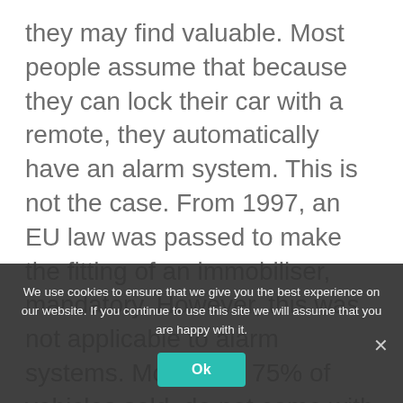they may find valuable. Most people assume that because they can lock their car with a remote, they automatically have an alarm system. This is not the case. From 1997, an EU law was passed to make the fitting of an immobiliser, mandatory. However, this was not applicable to alarm systems. More than 75% of vehicles sold, do not come with an alarm as standard. So, the onus of securing the vehicle is your responsibility. The insurance approved... insurance companies now requ... Thatcham approved alarm and most offer you...
We use cookies to ensure that we give you the best experience on our website. If you continue to use this site we will assume that you are happy with it.